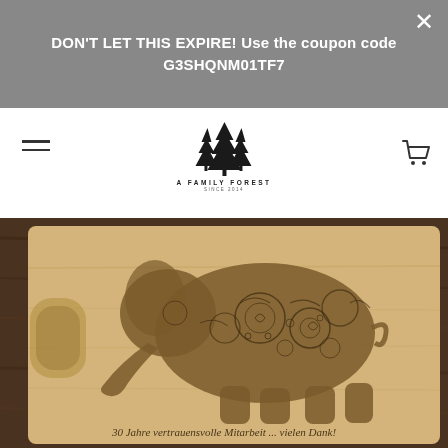DON'T LET THIS EXPIRE! Use the coupon code G3SHQNM01TF7
[Figure (logo): A Family Forest logo with pine trees silhouette and brand name text]
[Figure (photo): Wooden cutting board with laser-engraved mandala elephant design and text '30 Jahre vertrauensvolle Mitarbeit ... vielen Dank!' at the bottom]